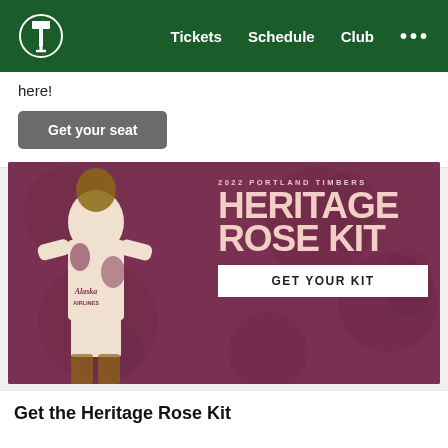Tickets   Schedule   Club   ...
here!
Get your seat
[Figure (photo): 2022 Portland Timbers Heritage Rose Kit advertisement banner. Shows a soccer player wearing the Heritage Rose Kit jersey (cream/pink with dark rose floral pattern, Alaska Airlines sponsor, Adidas logo, Portland Timbers crest). Text on banner reads: '2022 PORTLAND TIMBERS HERITAGE ROSE KIT' with a 'GET YOUR KIT' button on a mauve/purple-rose background.]
Get the Heritage Rose Kit